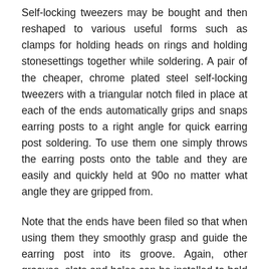Self-locking tweezers may be bought and then reshaped to various useful forms such as clamps for holding heads on rings and holding stonesettings together while soldering. A pair of the cheaper, chrome plated steel self-locking tweezers with a triangular notch filed in place at each of the ends automatically grips and snaps earring posts to a right angle for quick earring post soldering. To use them one simply throws the earring posts onto the table and they are easily and quickly held at 90o no matter what angle they are gripped from.
Note that the ends have been filed so that when using them they smoothly grasp and guide the earring post into its groove. Again, other grooves, slots and holes can be installed to hold various kinds of assemblies together while soldering. If made of titanium or if titanium ends are attached to the self locking tweezers they cannot